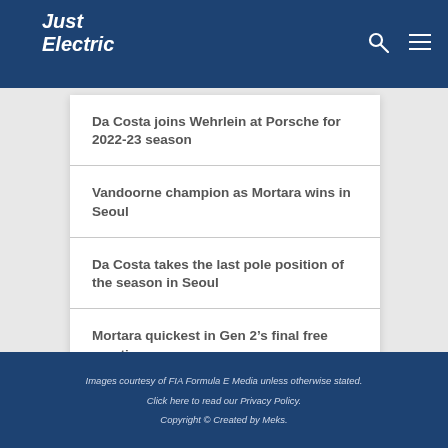Just Electric
Da Costa joins Wehrlein at Porsche for 2022-23 season
Vandoorne champion as Mortara wins in Seoul
Da Costa takes the last pole position of the season in Seoul
Mortara quickest in Gen 2’s final free practice
Images courtesy of FIA Formula E Media unless otherwise stated. Click here to read our Privacy Policy. Copyright © Created by Meks.